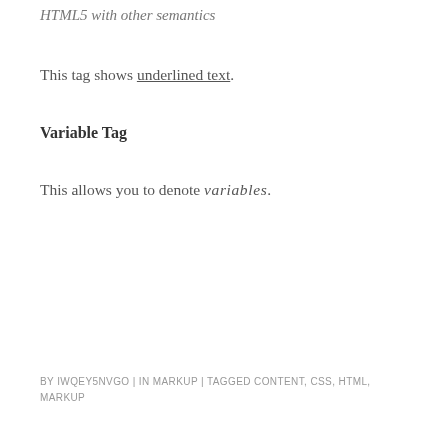HTML5 with other semantics
This tag shows underlined text.
Variable Tag
This allows you to denote variables.
BY IWQEY5NVGO | IN MARKUP | TAGGED CONTENT, CSS, HTML, MARKUP